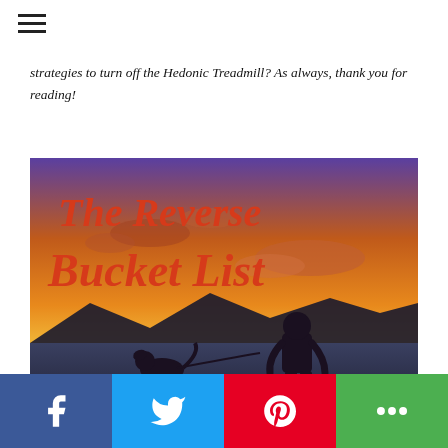strategies to turn off the Hedonic Treadmill? As always, thank you for reading!
[Figure (illustration): Promotional image for 'The Reverse Bucket List' showing a silhouette of a man walking a dog at sunset with orange and purple sky. Red cursive text reads 'The Reverse Bucket List'.]
Social share bar with Facebook, Twitter, Pinterest, and More buttons